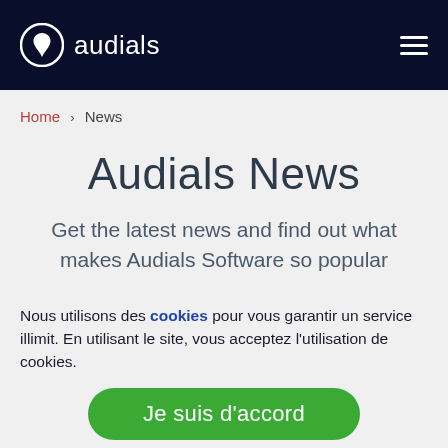audials
Home › News
Audials News
Get the latest news and find out what makes Audials Software so popular
Nous utilisons des cookies pour vous garantir un service illimit. En utilisant le site, vous acceptez l'utilisation de cookies.
Je suis d'accord